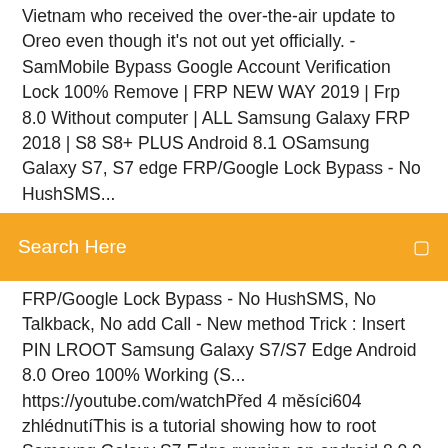Vietnam who received the over-the-air update to Oreo even though it's not out yet officially. - SamMobile Bypass Google Account Verification Lock 100% Remove | FRP NEW WAY 2019 | Frp 8.0 Without computer | ALL Samsung Galaxy FRP 2018 | S8 S8+ PLUS Android 8.1 OSamsung Galaxy S7, S7 edge FRP/Google Lock Bypass - No HushSMS...
[Figure (screenshot): Orange/amber search bar with text 'Search Here' and a search icon on the right]
FRP/Google Lock Bypass - No HushSMS, No Talkback, No add Call - New method Trick : Insert PIN LROOT Samsung Galaxy S7/S7 Edge Android 8.0 Oreo 100% Working (S... https://youtube.com/watchPřed 4 měsíci604 zhlédnutíThis is a tutorial showing how to root Samsung Galaxy S7 Edge running on android 8.0.0 Oreo Android version. Important Remember YOU DO THIS AT YOUR OWN RISK How to Install Galaxy S9 Oreo ROM on Galaxy S7 or S7 Edge... https://youtube.com/watch19. 5. 201874 tis. zhlédnutíIn this tutorial, I show you how to install Galaxy S9 Oreo ROM on your